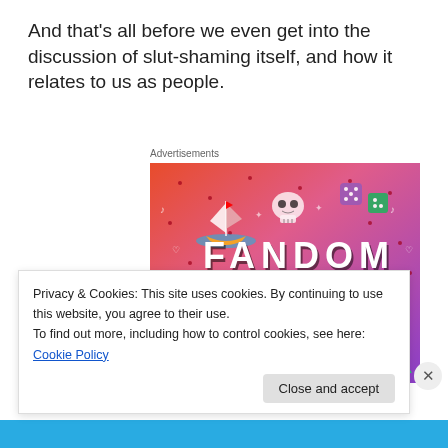And that’s all before we even get into the discussion of slut-shaming itself, and how it relates to us as people.
Advertisements
[Figure (illustration): Colorful Tumblr 'Fandom on Tumblr' advertisement banner with gradient background from orange/red to purple, featuring doodles of a sailboat, skull, dice, lightning bolts, hearts, and the text 'FANDOM ON tumblr' in bold black and white letters.]
Privacy & Cookies: This site uses cookies. By continuing to use this website, you agree to their use.
To find out more, including how to control cookies, see here: Cookie Policy
Close and accept